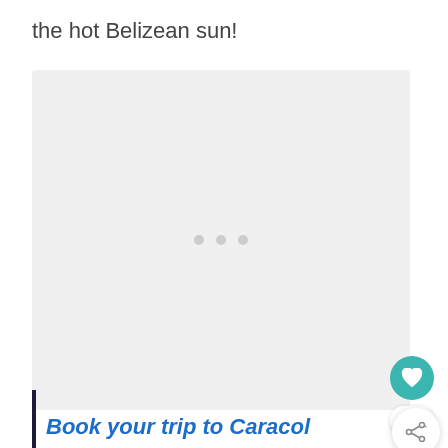the hot Belizean sun!
[Figure (photo): Large image placeholder with light gray background and three loading dots in the center]
Book your trip to Caracol